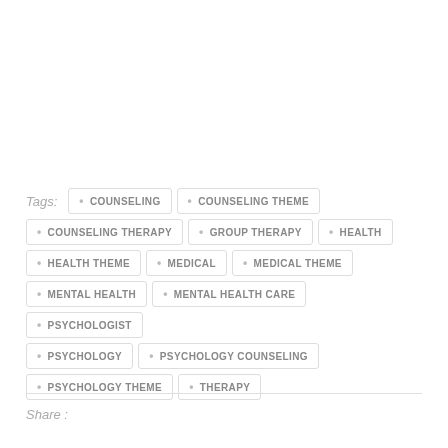Tags: COUNSELING, COUNSELING THEME, COUNSELING THERAPY, GROUP THERAPY, HEALTH, HEALTH THEME, MEDICAL, MEDICAL THEME, MENTAL HEALTH, MENTAL HEALTH CARE, PSYCHOLOGIST, PSYCHOLOGY, PSYCHOLOGY COUNSELING, PSYCHOLOGY THEME, THERAPY
Share :